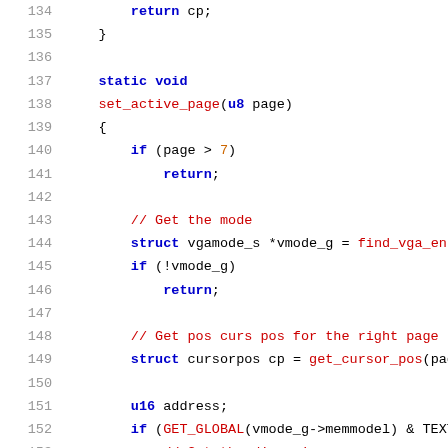Source code listing, lines 134-154, C code for set_active_page function